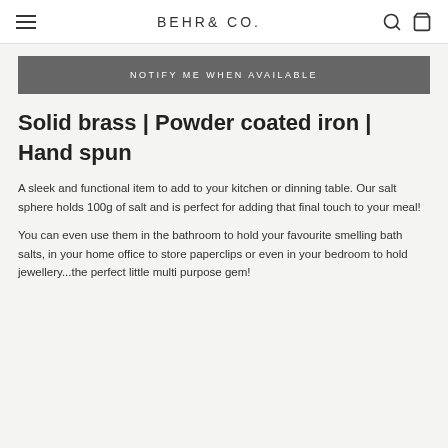BEHR & CO.
NOTIFY ME WHEN AVAILABLE
Solid brass | Powder coated iron | Hand spun
A sleek and functional item to add to your kitchen or dinning table. Our salt sphere holds 100g of salt and is perfect for adding that final touch to your meal!
You can even use them in the bathroom to hold your favourite smelling bath salts, in your home office to store paperclips or even in your bedroom to hold jewellery...the perfect little multi purpose gem!